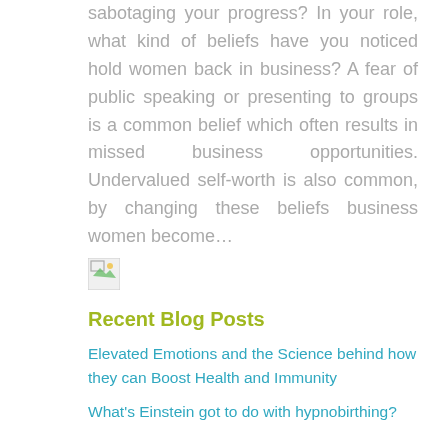sabotaging your progress? In your role, what kind of beliefs have you noticed hold women back in business? A fear of public speaking or presenting to groups is a common belief which often results in missed business opportunities. Undervalued self-worth is also common, by changing these beliefs business women become...
[Figure (photo): Small broken/placeholder image icon]
Recent Blog Posts
Elevated Emotions and the Science behind how they can Boost Health and Immunity
What's Einstein got to do with hypnobirthing?